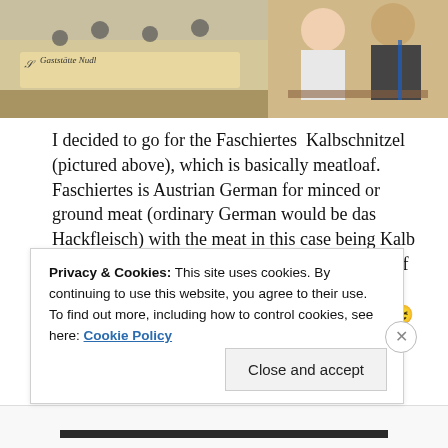[Figure (photo): Two photos side by side: left shows a restaurant sign reading 'Gaststätte Nudl', right shows two people sitting at a table]
I decided to go for the Faschiertes  Kalbschnitzel (pictured above), which is basically meatloaf. Faschiertes is Austrian German for minced or ground meat (ordinary German would be das Hackfleisch) with the meat in this case being Kalb – veal. Der Kalb is also the German word for calf – unlike us English speakers, they don't bother with different words for live and dead animals 😉 Dessert obviously had to be the long-anticipated Marillenknödel, but I've already told you
Privacy & Cookies: This site uses cookies. By continuing to use this website, you agree to their use.
To find out more, including how to control cookies, see here: Cookie Policy
Close and accept